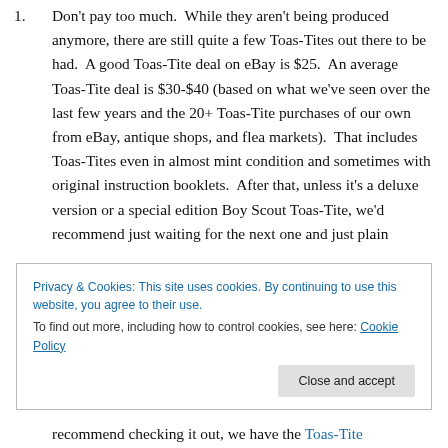1. Don't pay too much.  While they aren't being produced anymore, there are still quite a few Toas-Tites out there to be had.  A good Toas-Tite deal on eBay is $25.  An average Toas-Tite deal is $30-$40 (based on what we've seen over the last few years and the 20+ Toas-Tite purchases of our own from eBay, antique shops, and flea markets).  That includes Toas-Tites even in almost mint condition and sometimes with original instruction booklets.  After that, unless it's a deluxe version or a special edition Boy Scout Toas-Tite, we'd recommend just waiting for the next one and just plain
Privacy & Cookies: This site uses cookies. By continuing to use this website, you agree to their use.
To find out more, including how to control cookies, see here: Cookie Policy
recommend checking it out, we have the Toas-Tite